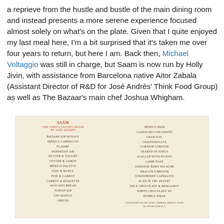a reprieve from the hustle and bustle of the main dining room and instead presents a more serene experience focused almost solely on what's on the plate. Given that I quite enjoyed my last meal here, I'm a bit surprised that it's taken me over four years to return, but here I am. Back then, Michael Voltaggio was still in charge, but Saam is now run by Holly Jivin, with assistance from Barcelona native Aitor Zabala (Assistant Director of R&D for José Andrés' Think Food Group) as well as The Bazaar's main chef Joshua Whigham.
[Figure (other): Menu card for SAAM The Chef's Tasting Room by José Andrés, listing dishes including Bazaar Kir Royale, Ibérico Carpaccio, Flambé, Parmesan Air, Butter & Yogurt, Oyster & Jamón, Ibérico Palette, Foie & Honey, Foie & Carrot, Carrot & Roquette, Avocado Bread, Turnip Air, Uni Mango, Cheese on the left, and Ibérico Ham, Gazpacho Con Jamón, Crab Soil, Chanterelles, Cornish Lobster, Seared Octopus, Scallop with Pigeon, Lamb Nase, Japanese Baby Palache, Dragon's Breath, Strawberry Cappaleni, Plan in the Desert, Milk Chocolate & Bergamot, White Chocolate NE, Bubble Wrap on the right. Credit: Culinary Team: José Andrés, Holly Jivin & Aitor Zabala]